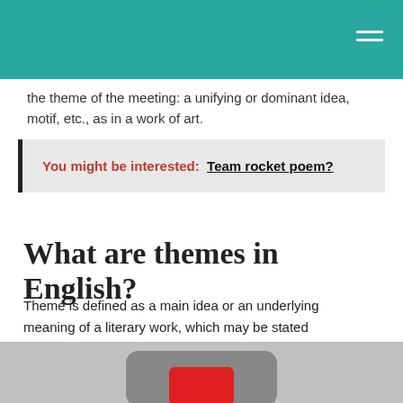the theme of the meeting: a unifying or dominant idea, motif, etc., as in a work of art.
You might be interested:  Team rocket poem?
What are themes in English?
Theme is defined as a main idea or an underlying meaning of a literary work, which may be stated directly or indirectly.
[Figure (photo): Bottom portion of an image showing what appears to be a video play button or media element on a grey background with a red shape.]